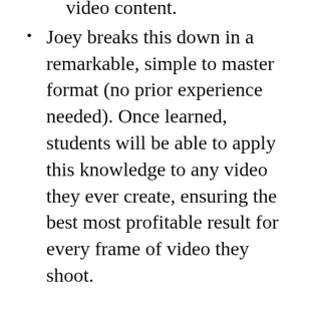required to creating professional level video content.
Joey breaks this down in a remarkable, simple to master format (no prior experience needed). Once learned, students will be able to apply this knowledge to any video they ever create, ensuring the best most profitable result for every frame of video they shoot.
Every Angle, Setting & Concept Explained
Fade To Black teaches the real word use cases of your video equipment